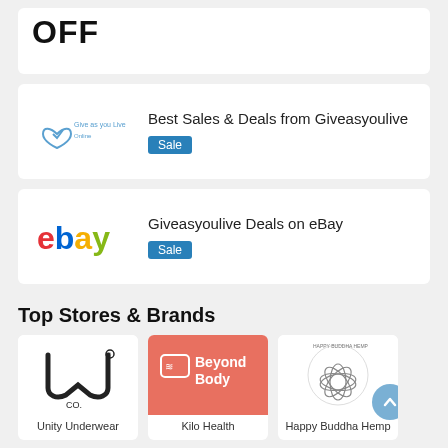OFF
Best Sales & Deals from Giveasyoulive
Sale
Giveasyoulive Deals on eBay
Sale
Top Stores & Brands
[Figure (logo): Unity Underwear logo - stylized WU CO. letters]
Unity Underwear
[Figure (logo): Beyond Body logo on pink/coral background]
Kilo Health
[Figure (logo): Happy Buddha Hemp logo with lotus/hemp leaf illustration]
Happy Buddha Hemp